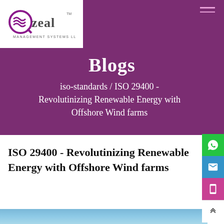Qzeal Management Systems LLP
Blogs
iso-standards / ISO 29400 - Revolutinizing Renewable Energy with Offshore Wind farms
ISO 29400 - Revolutinizing Renewable Energy with Offshore Wind farms
[Figure (photo): Blue sky photo strip at the bottom of the page, showing a sky scene with birds]